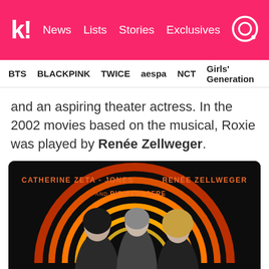k! News Lists Stories Exclusives
BTS BLACKPINK TWICE aespa NCT Girls' Generation
and an aspiring theater actress. In the 2002 movies based on the musical, Roxie was played by Renée Zellweger.
[Figure (photo): Chicago 2002 movie poster showing Catherine Zeta-Jones, Richard Gere, and Renée Zellweger in black and white against neon orange arcs on a dark background. Text overlays: CATHERINE ZETA - JONES, AND RICHARD GERE, RENÉE ZELLWEGER in orange uppercase letters.]